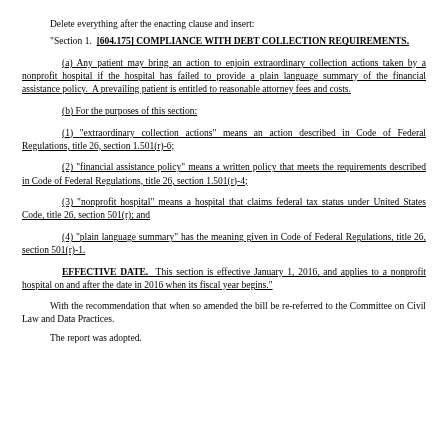Delete everything after the enacting clause and insert:
"Section 1. [604.175] COMPLIANCE WITH DEBT COLLECTION REQUIREMENTS.
(a) Any patient may bring an action to enjoin extraordinary collection actions taken by a nonprofit hospital if the hospital has failed to provide a plain language summary of the financial assistance policy. A prevailing patient is entitled to reasonable attorney fees and costs.
(b) For the purposes of this section:
(1) "extraordinary collection actions" means an action described in Code of Federal Regulations, title 26, section 1.501(r)-6;
(2) "financial assistance policy" means a written policy that meets the requirements described in Code of Federal Regulations, title 26, section 1.501(r)-4;
(3) "nonprofit hospital" means a hospital that claims federal tax status under United States Code, title 26, section 501(r); and
(4) "plain language summary" has the meaning given in Code of Federal Regulations, title 26, section 501(r)-1.
EFFECTIVE DATE. This section is effective January 1, 2016, and applies to a nonprofit hospital on and after the date in 2016 when its fiscal year begins."
With the recommendation that when so amended the bill be re-referred to the Committee on Civil Law and Data Practices.
The report was adopted.